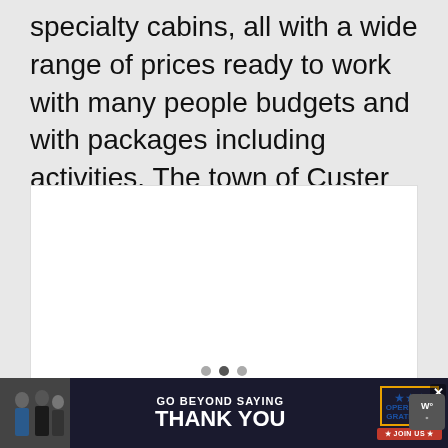specialty cabins, all with a wide range of prices ready to work with many people budgets and with packages including activities. The town of Custer nearby offers multiple hotels, too, as do surrounding towns Keystones and Hill City.
[Figure (photo): A white rectangular image placeholder box]
[Figure (infographic): Advertisement banner: 'GO BEYOND SAYING THANK YOU' - Operation Gratitude JOIN US ad with dark background and military personnel photo]